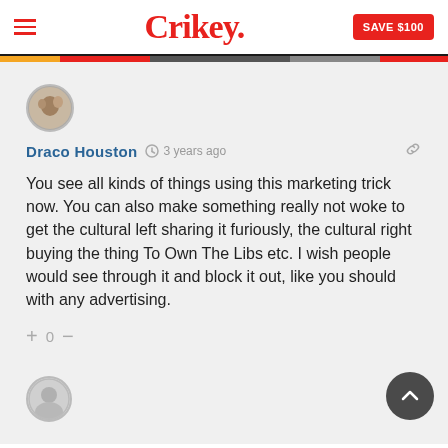Crikey. | SAVE $100
Draco Houston · 3 years ago
You see all kinds of things using this marketing trick now. You can also make something really not woke to get the cultural left sharing it furiously, the cultural right buying the thing To Own The Libs etc. I wish people would see through it and block it out, like you should with any advertising.
[Figure (photo): Partial second comment with user avatar (gray silhouette)]